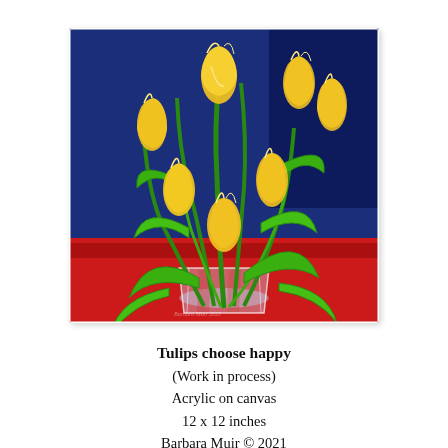[Figure (illustration): Painting of yellow tulips in a glass vase against a blue and red background. The tulips are bright yellow with green leaves, painted in an expressive acrylic style. The lower portion shows a red tablecloth and a clear glass vase.]
Tulips choose happy
(Work in process)
Acrylic on canvas
12 x 12 inches
Barbara Muir © 2021